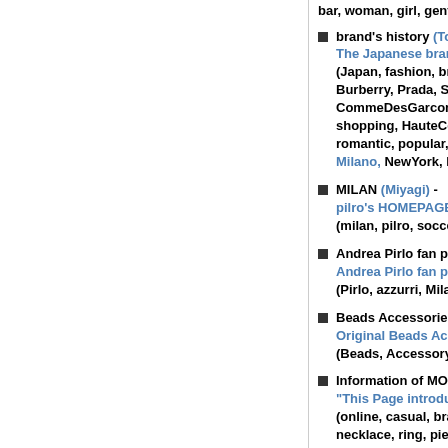bar, woman, girl, gentleman, boy, magazine, London, Tokyo, link, quiz, enquete, spot, list, boa
brand's history (Tokyo) - The Japanese brand website, Tokyo Japan. (Japan, fashion, brand, mode, art, ANNASUI, Gucci, Burberry, Prada, Silas, Armani, Ralph, Hermes, Gi, CommeDesGarcons, Vivian, Bvlgari, Cartier, jewel, shopping, HauteCouture, designer, apparel, acces, romantic, popular, cool, sense, fashionable, type, Milano, NewYork, London, Tokyo, quiz, spot, list, s
MILAN (Miyagi) - pilro's HOMEPAGE (milan, pilro, soccer, goal, serie, a)
Andrea Pirlo fan page (Tokyo) - Andrea Pirlo fan page (Pirlo, azzurri, MilanAC, photo, Andrea, SerieA, foot
Beads Accessories Shop Kalishma Milan (Kumamo - Original Beads Accessories Kalishma Milan (Beads, Accessory, Accessories, Kalishma, Milan,
Information of MODE Magazines for LADY (Osaka) - "This Page introduces MAGAZINEs of MODE; fashio (online, casual, brand, secondhand, wear, shoppi, necklace, ring, pierce, Gucci, Vuitton, Prada, imo, wedding, platinum, clock, magazine, cyber, lady, f, bazaar, style, Marie, claire, Spur, Vingtaine, VOGU, N.Y., Milano, sale, book, love)